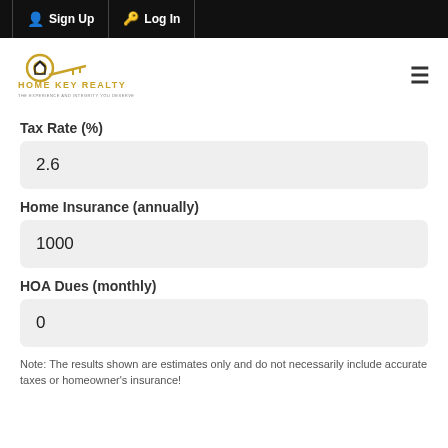Sign Up   Log In
[Figure (logo): Home Key Realty logo with golden key icon and text]
Tax Rate (%)
2.6
Home Insurance (annually)
1000
HOA Dues (monthly)
0
Note: The results shown are estimates only and do not necessarily include accurate taxes or homeowner's insurance!